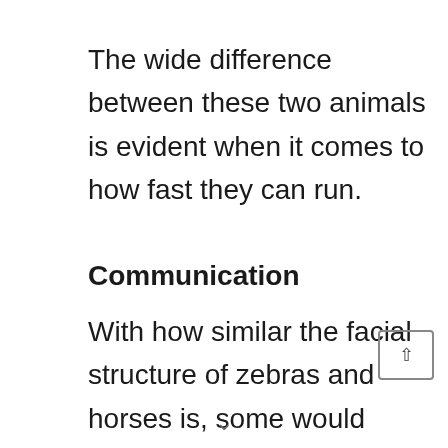The wide difference between these two animals is evident when it comes to how fast they can run.
Communication
With how similar the facial structure of zebras and horses is, some would expect that they